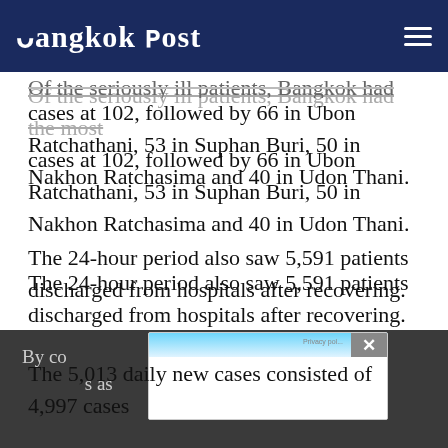Bangkok Post
Of the seriously ill patients, Bangkok had the most cases at 102, followed by 66 in Ubon Ratchathani, 53 in Suphan Buri, 50 in Nakhon Ratchasima and 40 in Udon Thani.
The 24-hour period also saw 5,591 patients discharged from hospitals after recovering.
The 5,013 daily new cases consisted of 4,997 cases
By co... s as
[Figure (screenshot): Advertisement popup overlay with blue gradient header bar and close button (X)]